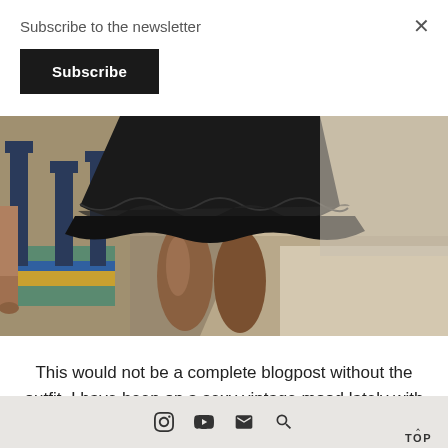Subscribe to the newsletter
Subscribe
[Figure (photo): A person wearing a short black leather pleated skirt, shot from behind, standing in what appears to be an outdoor patio or restaurant setting with blue bar stools and a colorful rug visible in the background.]
This would not be a complete blogpost without the outfit. I have been on a sexy vintage mood lately with my outfits and
TOP